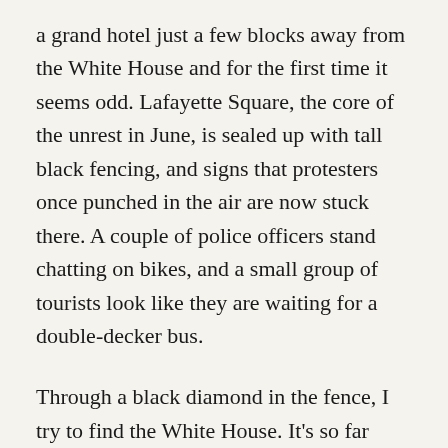a grand hotel just a few blocks away from the White House and for the first time it seems odd. Lafayette Square, the core of the unrest in June, is sealed up with tall black fencing, and signs that protesters once punched in the air are now stuck there. A couple of police officers stand chatting on bikes, and a small group of tourists look like they are waiting for a double-decker bus.
Through a black diamond in the fence, I try to find the White House. It’s so far away now that I can barely make out the white columns beyond the statue of the rearing horse. Even the portion of 16th Street which has been emblazoned with ‘Black Lives Matter’ is completely empty. A solo guy with purple